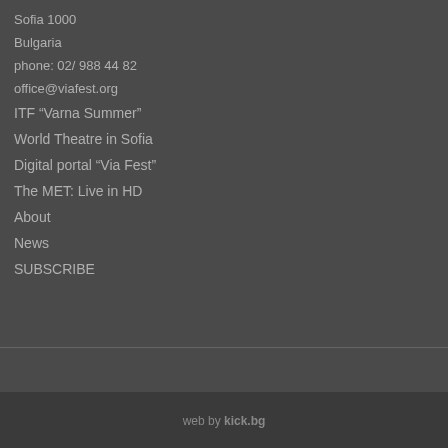Sofia 1000
Bulgaria
phone: 02/ 988 44 82
office@viafest.org
ITF “Varna Summer”
World Theatre in Sofia
Digital portal “Via Fest”
The MET: Live in HD
About
News
SUBSCRIBE
web by kick.bg